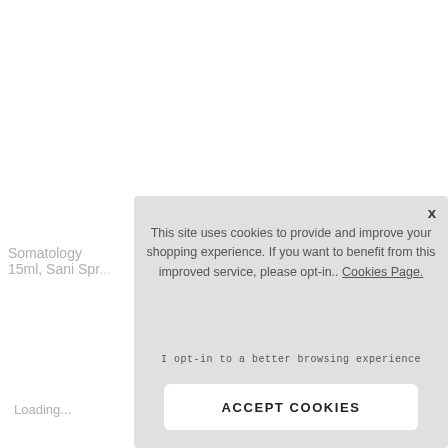Somatology 15ml, Sani Spr...
Loading...
This site uses cookies to provide and improve your shopping experience. If you want to benefit from this improved service, please opt-in.. Cookies Page.
I opt-in to a better browsing experience
ACCEPT COOKIES